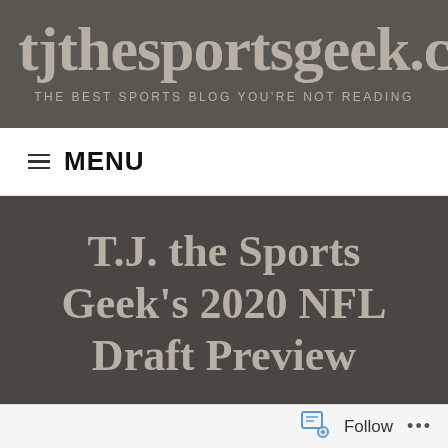tjthesportsgeek.co
THE BEST SPORTS BLOG YOU'RE NOT READING
☰ MENU
T.J. the Sports Geek's 2020 NFL Draft Preview